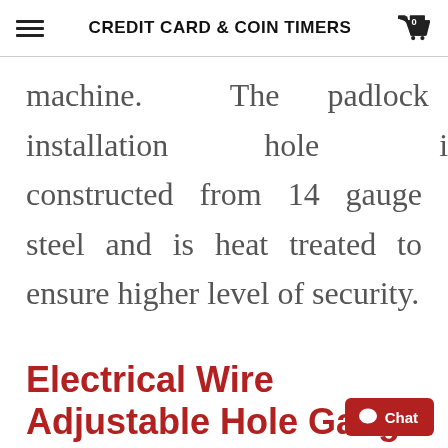CREDIT CARD & COIN TIMERS
machine. The padlock installation hole is constructed from 14 gauge steel and is heat treated to ensure higher level of security.
Electrical Wire Adjustable Hole Gauge